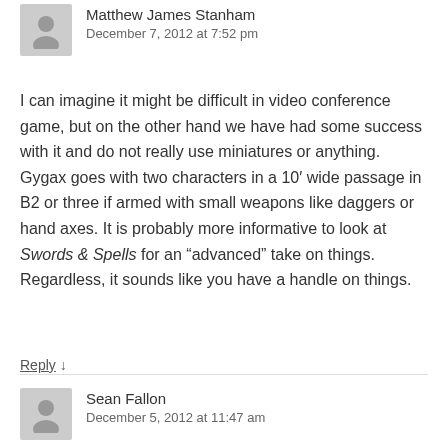Matthew James Stanham
December 7, 2012 at 7:52 pm
I can imagine it might be difficult in video conference game, but on the other hand we have had some success with it and do not really use miniatures or anything. Gygax goes with two characters in a 10′ wide passage in B2 or three if armed with small weapons like daggers or hand axes. It is probably more informative to look at Swords & Spells for an "advanced" take on things. Regardless, it sounds like you have a handle on things.
Reply ↓
Sean Fallon
December 5, 2012 at 11:47 am